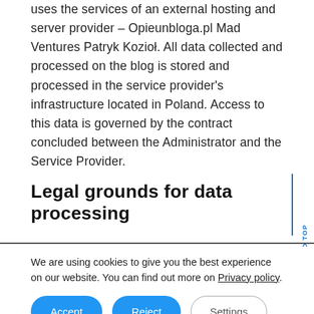uses the services of an external hosting and server provider – Opieunbloga.pl Mad Ventures Patryk Kozioł. All data collected and processed on the blog is stored and processed in the service provider's infrastructure located in Poland. Access to this data is governed by the contract concluded between the Administrator and the Service Provider.
Legal grounds for data processing
We are using cookies to give you the best experience on our website. You can find out more on Privacy policy.
Accept | Reject | Settings